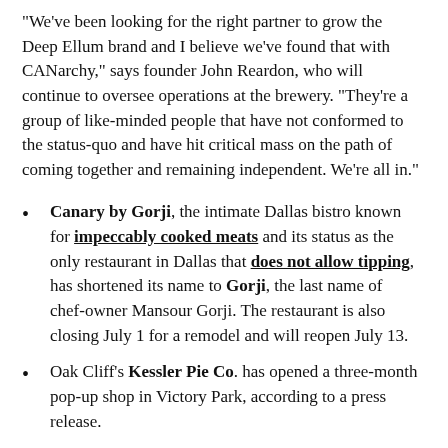"We've been looking for the right partner to grow the Deep Ellum brand and I believe we've found that with CANarchy," says founder John Reardon, who will continue to oversee operations at the brewery. "They're a group of like-minded people that have not conformed to the status-quo and have hit critical mass on the path of coming together and remaining independent. We're all in."
Canary by Gorji, the intimate Dallas bistro known for impeccably cooked meats and its status as the only restaurant in Dallas that does not allow tipping, has shortened its name to Gorji, the last name of chef-owner Mansour Gorji. The restaurant is also closing July 1 for a remodel and will reopen July 13.
Oak Cliff's Kessler Pie Co. has opened a three-month pop-up shop in Victory Park, according to a press release.